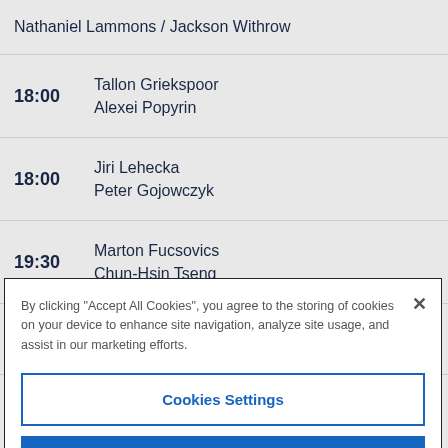Nathaniel Lammons / Jackson Withrow
18:00  Tallon Griekspoor  Alexei Popyrin
18:00  Jiri Lehecka  Peter Gojowczyk
19:30  Marton Fucsovics  Chun-Hsin Tseng
19:30  Shintaro Mochizuki
By clicking "Accept All Cookies", you agree to the storing of cookies on your device to enhance site navigation, analyze site usage, and assist in our marketing efforts.
Cookies Settings
Reject All